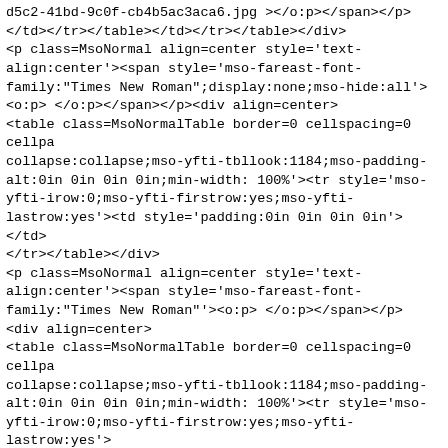d5c2-41bd-9c0f-cb4b5ac3aca6.jpg ><o:p></o:p></span></p>
</td></tr></table></td></tr></table></div>
<p class=MsoNormal align=center style='text-align:center'><span style='mso-fareast-font-family:"Times New Roman";display:none;mso-hide:all'>
<o:p> </o:p></span></p><div align=center>
<table class=MsoNormalTable border=0 cellspacing=0 cellpa
collapse:collapse;mso-yfti-tbllook:1184;mso-padding-alt:0in 0in 0in 0in;min-width: 100%'><tr style='mso-yfti-irow:0;mso-yfti-firstrow:yes;mso-yfti-lastrow:yes'><td style='padding:0in 0in 0in 0in'></td>
</tr></table></div>
<p class=MsoNormal align=center style='text-align:center'><span style='mso-fareast-font-family:"Times New Roman"'><o:p> </o:p></span></p>
<div align=center>
<table class=MsoNormalTable border=0 cellspacing=0 cellpa
collapse:collapse;mso-yfti-tbllook:1184;mso-padding-alt:0in 0in 0in 0in;min-width: 100%'><tr style='mso-yfti-irow:0;mso-yfti-firstrow:yes;mso-yfti-lastrow:yes'>
<td width="100%" valign=top style='width:100.0%;padding:0
<table class=MsoNormalTable border=0 cellspacing=0 cellpa
collapse:collapse;mso-yfti-tbllook:1184;mso-padding-alt:0in 0in 0in 0in;min-width: 100%'><tr style='mso-yfti-irow:0;mso-yfti-firstrow:yes;mso-yfti-lastrow:yes'>
<td valign=top style='padding:0in 0in 0in 0in'>
<div align=center>
<table class=MsoNormalTable border=0 cellspacing=0 cellpa
collapse:collapse;mso-yfti-tbllook:1184;min-